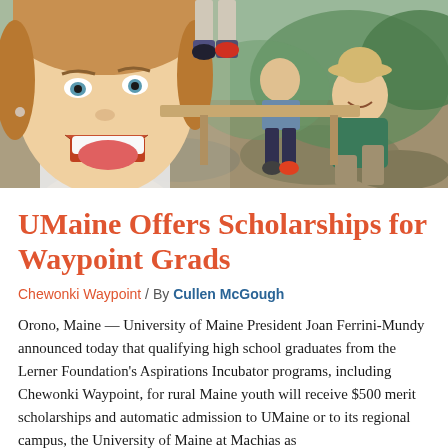[Figure (photo): Group outdoor photo: close-up selfie of a smiling woman with mouth open on the left, group of people sitting on rocks/steps in a natural outdoor setting on the right, wearing casual outdoor clothing]
UMaine Offers Scholarships for Waypoint Grads
Chewonki Waypoint / By Cullen McGough
Orono, Maine — University of Maine President Joan Ferrini-Mundy announced today that qualifying high school graduates from the Lerner Foundation's Aspirations Incubator programs, including Chewonki Waypoint, for rural Maine youth will receive $500 merit scholarships and automatic admission to UMaine or to its regional campus, the University of Maine at Machias as